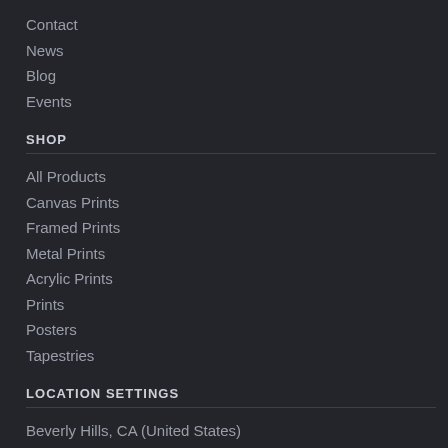Contact
News
Blog
Events
SHOP
All Products
Canvas Prints
Framed Prints
Metal Prints
Acrylic Prints
Prints
Posters
Tapestries
LOCATION SETTINGS
Beverly Hills, CA (United States)
Currency: USD ($)
Units: Inches